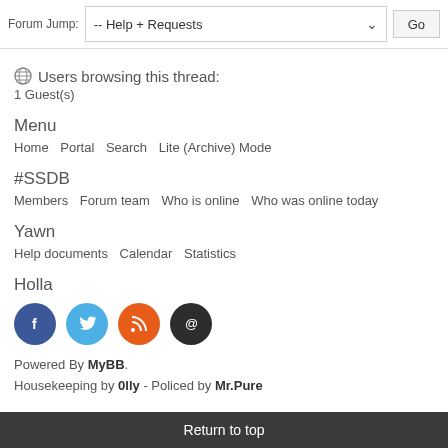Forum Jump: -- Help + Requests   Go
Users browsing this thread:
1 Guest(s)
Menu
Home   Portal   Search   Lite (Archive) Mode
#SSDB
Members   Forum team   Who is online   Who was online today
Yawn
Help documents   Calendar   Statistics
Holla
[Figure (other): Social media icons: Facebook, Twitter, RSS, Email]
Powered By MyBB.
Housekeeping by 0lly - Policed by Mr.Pure
Return to top